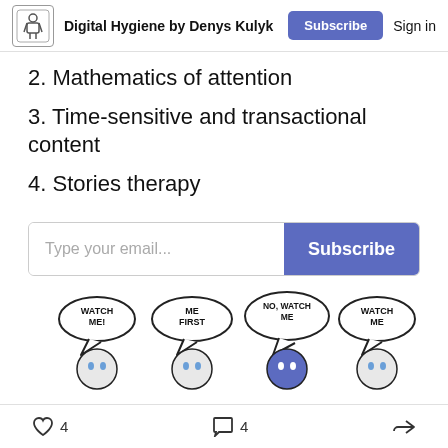Digital Hygiene by Denys Kulyk | Subscribe | Sign in
2. Mathematics of attention
3. Time-sensitive and transactional content
4. Stories therapy
Type your email... Subscribe
[Figure (illustration): Four cartoon figures each with speech bubbles reading 'WATCH ME!', 'ME FIRST', 'NO, WATCH ME', 'WATCH ME' — illustrating competing attention.]
4 likes | 4 comments | Share